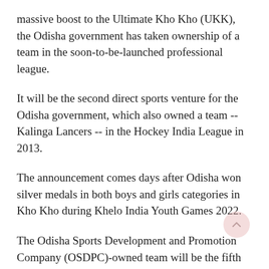massive boost to the Ultimate Kho Kho (UKK), the Odisha government has taken ownership of a team in the soon-to-be-launched professional league.
It will be the second direct sports venture for the Odisha government, which also owned a team -- Kalinga Lancers -- in the Hockey India League in 2013.
The announcement comes days after Odisha won silver medals in both boys and girls categories in Kho Kho during Khelo India Youth Games 2022.
The Odisha Sports Development and Promotion Company (OSDPC)-owned team will be the fifth franchise in the league.
"Kho Kho is very popular in many parts of Odisha. In the